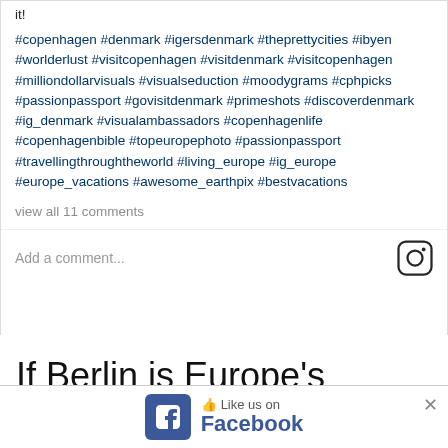it!
#copenhagen #denmark #igersdenmark #theprettycities #ibyen #worlderlust #visitcopenhagen #visitdenmark #visitcopenhagen #milliondollarvisuals #visualseduction #moodygrams #cphpicks #passionpassport #govisitdenmark #primeshots #discoverdenmark #ig_denmark #visualambassadors #copenhagenlife #copenhagenbible #topeuropephoto #passionpassport #travellingthroughtheworld #living_europe #ig_europe #europe_vacations #awesome_earthpix #bestvacations
view all 11 comments
Add a comment...
If Berlin is Europe’s hipster city then Denmark’s capital, filled with canals,
[Figure (logo): Facebook Like us on Facebook ad banner with Facebook icon, thumbs up, and close X button]